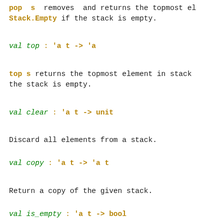pop  s  removes  and returns the topmost element. Raises Stack.Empty if the stack is empty.
val top : 'a t -> 'a
top s returns the topmost element in stack s. Raises Stack.Empty if the stack is empty.
val clear : 'a t -> unit
Discard all elements from a stack.
val copy : 'a t -> 'a t
Return a copy of the given stack.
val is_empty : 'a t -> bool
Return true if the given stack is empty, false otherwise.
val length : 'a t -> int
Return the number of elements in a stack.
val iter : ('a -> unit) -> 'a t -> unit
iter  f  s applies f in turn to all elements of s.